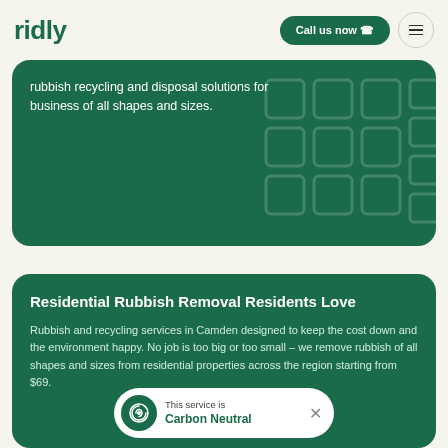ridly — Call us now
rubbish recycling and disposal solutions for business of all shapes and sizes.
Residential Rubbish Removal Residents Love
Rubbish and recycling services in Camden designed to keep the cost down and the environment happy. No job is too big or too small – we remove rubbish of all shapes and sizes from residential properties across the region starting from $69.
This service is Carbon Neutral